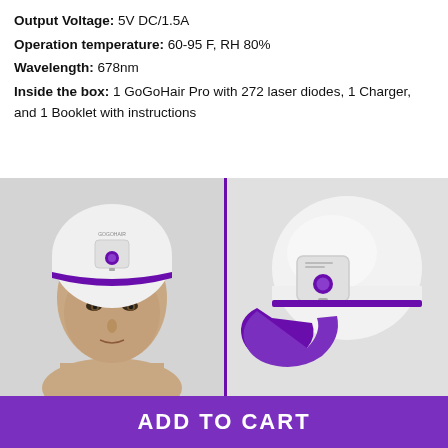Output Voltage: 5V DC/1.5A
Operation temperature: 60-95 F, RH 80%
Wavelength: 678nm
Inside the box: 1 GoGoHair Pro with 272 laser diodes, 1 Charger, and 1 Booklet with instructions
[Figure (photo): Left panel: man wearing a white and purple laser therapy helmet cap on his head. Right panel: the GoGoHair Pro helmet device shown alone at an angle, white with purple accents and a curved brim.]
ADD TO CART